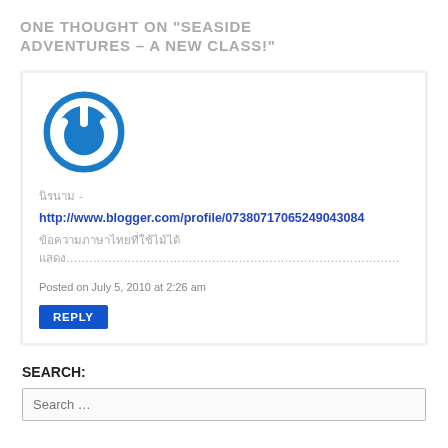ONE THOUGHT ON “SEASIDE ADVENTURES – A NEW CLASS!”
[Figure (illustration): Blue circular power button avatar icon with white power symbol on blue background]
นิรนาม -
http://www.blogger.com/profile/07380717065249043084
ข้อความภาษาไทยที่ใช้ไม่ได้แสดง.....
Posted on July 5, 2010 at 2:26 am
REPLY
SEARCH:
Search …